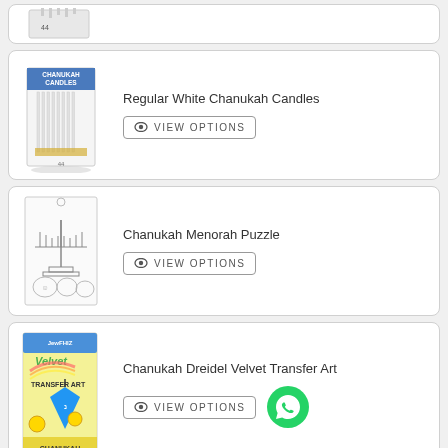[Figure (photo): Partial view of a product card showing white candles with silver packaging at top of page]
Regular White Chanukah Candles
VIEW OPTIONS
Chanukah Menorah Puzzle
VIEW OPTIONS
Chanukah Dreidel Velvet Transfer Art
VIEW OPTIONS